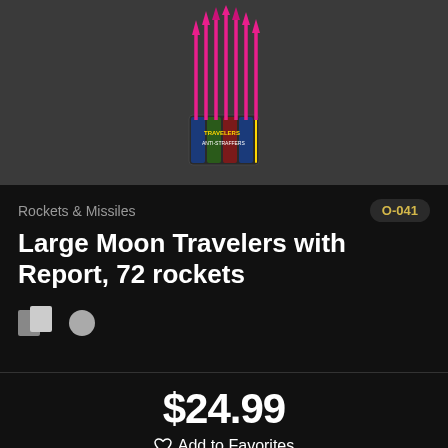[Figure (photo): Product photo of Large Moon Travelers fireworks rockets bundle with pink rockets and colorful packaging on dark background]
Rockets & Missiles
O-041
Large Moon Travelers with Report, 72 rockets
$24.99
Add to Favorites